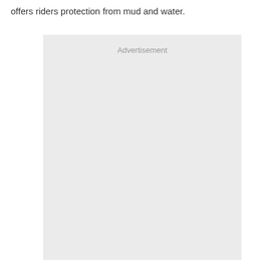offers riders protection from mud and water.
[Figure (other): Advertisement placeholder box with light gray background and 'Advertisement' label text centered near the top.]